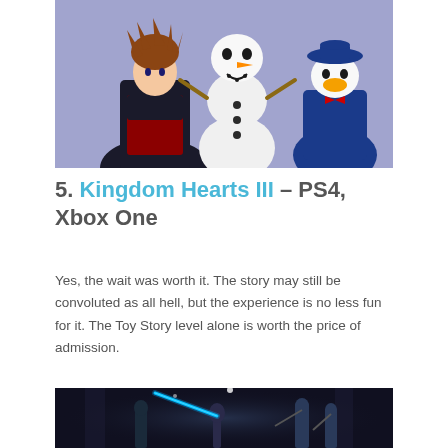[Figure (photo): Screenshot from Kingdom Hearts III showing Sora, Olaf the snowman, and Donald Duck against a purple/lavender background]
5. Kingdom Hearts III – PS4, Xbox One
Yes, the wait was worth it. The story may still be convoluted as all hell, but the experience is no less fun for it. The Toy Story level alone is worth the price of admission.
[Figure (photo): Screenshot from a dark sci-fi/action game showing a character with a glowing blue lightsaber fighting stormtroopers in a dark environment]